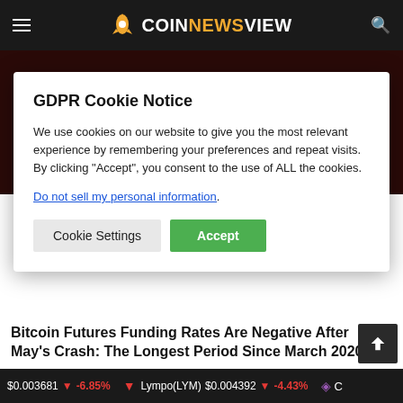COINNEWSVIEW
GDPR Cookie Notice
We use cookies on our website to give you the most relevant experience by remembering your preferences and repeat visits. By clicking “Accept”, you consent to the use of ALL the cookies.
Do not sell my personal information.
Bitcoin Futures Funding Rates Are Negative After May’s Crash: The Longest Period Since March 2020
$0.003681 | -6.85% | Lympo(LYM) $0.004392 | -4.43%